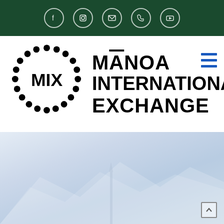Social media icons bar: Facebook, Instagram, Email, Phone, YouTube
[Figure (logo): MIX circular dot logo with text MANOA INTERNATIONAL EXCHANGE and hamburger menu icon]
[Figure (photo): Hero background image with light blue/grey abstract mountain or landscape silhouette, with scroll-up arrow button at bottom right]